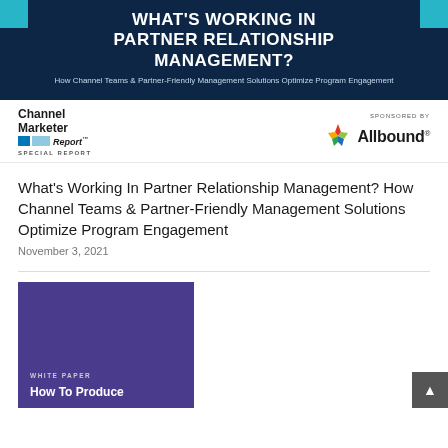[Figure (illustration): Dark navy banner with WHAT'S WORKING IN PARTNER RELATIONSHIP MANAGEMENT? title and subtitle about Channel Teams & Partner-Friendly Management Solutions Optimize Program Engagement. Teal accent squares at top-left and top-right corners.]
[Figure (logo): Channel Marketer Report SPECIAL REPORT logo with blue squares on the left side]
[Figure (logo): Allbound logo with multicolor star icon and SPONSORED BY label]
What's Working In Partner Relationship Management? How Channel Teams & Partner-Friendly Management Solutions Optimize Program Engagement
November 3, 2021
[Figure (illustration): Purple/violet card with WHITE PAPER label and 'How To Produce' heading text visible at the bottom]